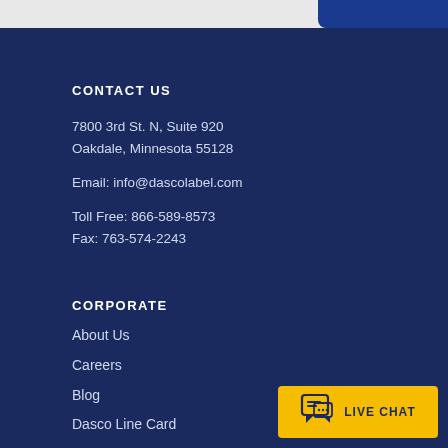CONTACT US
7800 3rd St. N, Suite 920
Oakdale, Minnesota 55128
Email: info@dascolabel.com
Toll Free: 866-589-8573
Fax: 763-574-2243
CORPORATE
About Us
Careers
Blog
Dasco Line Card
[Figure (other): Live Chat button with chat bubble icon and text LIVE CHAT on yellow background]